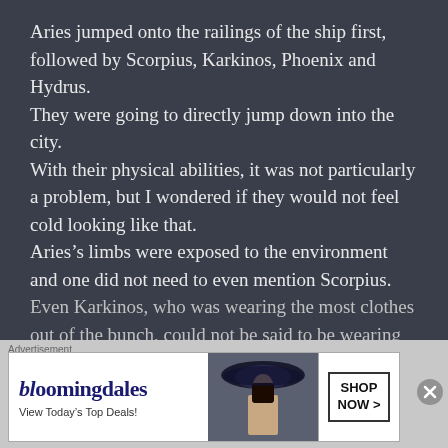Aries jumped onto the railings of the ship first, followed by Scorpius, Karkinos, Phoenix and Hydrus.
They were going to directly jump down into the city.
With their physical abilities, it was not particularly a problem, but I wondered if they would not feel cold looking like that.
Aries’s limbs were exposed to the environment and one did not need to even mention Scorpius.
Even Karkinos, who was wearing the most clothes out of the bunch, could not be said to be wearing
Advertisement
[Figure (other): Bloomingdale's advertisement banner with logo, tagline 'View Today's Top Deals!', woman in wide-brim hat image, and 'SHOP NOW >' call-to-action button]